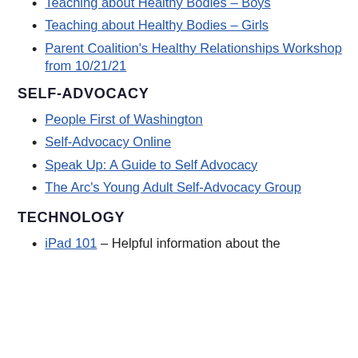Teaching about Healthy Bodies – Boys
Teaching about Healthy Bodies – Girls
Parent Coalition's Healthy Relationships Workshop from 10/21/21
SELF-ADVOCACY
People First of Washington
Self-Advocacy Online
Speak Up: A Guide to Self Advocacy
The Arc's Young Adult Self-Advocacy Group
TECHNOLOGY
iPad 101 – Helpful information about the